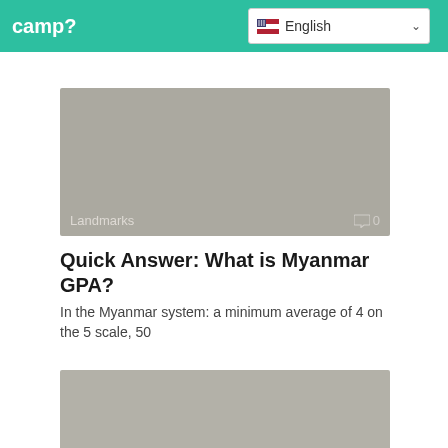camp?
[Figure (screenshot): Language selector dropdown showing US flag and 'English' text with chevron]
[Figure (photo): Gray placeholder image with 'Landmarks' label and comment icon showing 0 comments]
Quick Answer: What is Myanmar GPA?
In the Myanmar system: a minimum average of 4 on the 5 scale, 50
[Figure (photo): Gray placeholder image, second article thumbnail]